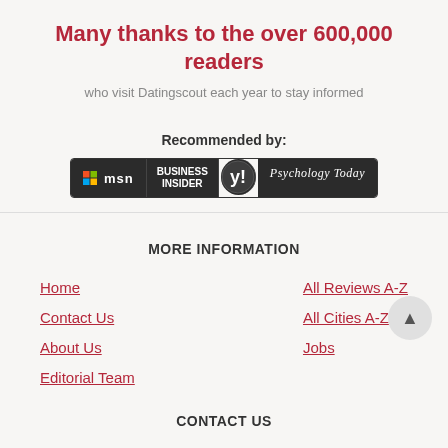Many thanks to the over 600,000 readers
who visit Datingscout each year to stay informed
Recommended by:
[Figure (logo): Logos of msn, Business Insider, Yahoo, and Psychology Today on dark background]
MORE INFORMATION
Home
Contact Us
About Us
Editorial Team
All Reviews A-Z
All Cities A-Z
Jobs
CONTACT US